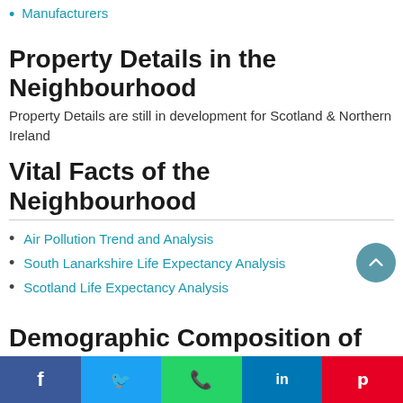Manufacturers
Property Details in the Neighbourhood
Property Details are still in development for Scotland & Northern Ireland
Vital Facts of the Neighbourhood
Air Pollution Trend and Analysis
South Lanarkshire Life Expectancy Analysis
Scotland Life Expectancy Analysis
Demographic Composition of the